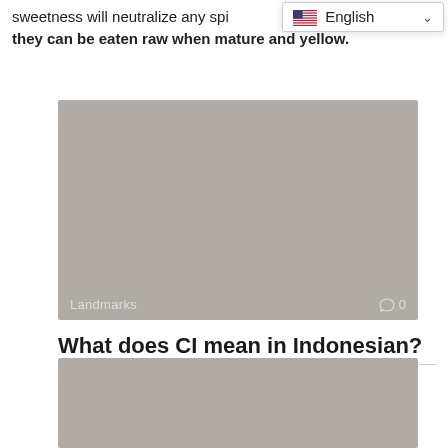sweetness will neutralize any spi… they can be eaten raw when mature and yellow.
[Figure (screenshot): Language selector dropdown showing English with US flag and chevron]
[Figure (photo): Gray image placeholder with Landmarks label and comment count 0 in bottom corners]
What does CI mean in Indonesian?
cici mean “older sister”. u can use the word cici to call ur older
[Figure (photo): Gray image placeholder at bottom of page]